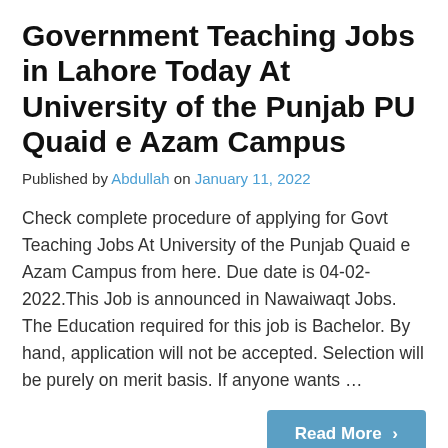Government Teaching Jobs in Lahore Today At University of the Punjab PU Quaid e Azam Campus
Published by Abdullah on January 11, 2022
Check complete procedure of applying for Govt Teaching Jobs At University of the Punjab Quaid e Azam Campus from here. Due date is 04-02-2022.This Job is announced in Nawaiwaqt Jobs. The Education required for this job is Bachelor. By hand, application will not be accepted. Selection will be purely on merit basis. If anyone wants …
Read More ›
New Government Teaching Jobs in